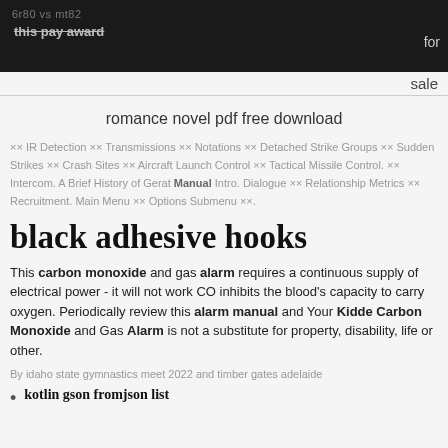6r80 vs mt82   this pay award   for   sale
romance novel pdf free download
×× IR Detection ×× Transmissions ×× Notations ×× Detached Strike Groups ×× Sudden Strikes ×× Crash Sites ×× Aircraft Launch Control ×× Tactical Missile Control. ×× Intercom. A Brief History of Gerat Manual Intro. Dialogue ×× Relationship Metrics ×× Recruitment. Main Menu ×× Options Submenu ××.
black adhesive hooks
This carbon monoxide and gas alarm requires a continuous supply of electrical power - it will not work CO inhibits the blood's capacity to carry oxygen. Periodically review this alarm manual and Your Kidde Carbon Monoxide and Gas Alarm is not a substitute for property, disability, life or other.
By idaho state gymnastics meet 2022 and timber gates adelaide
kotlin gson fromjson list